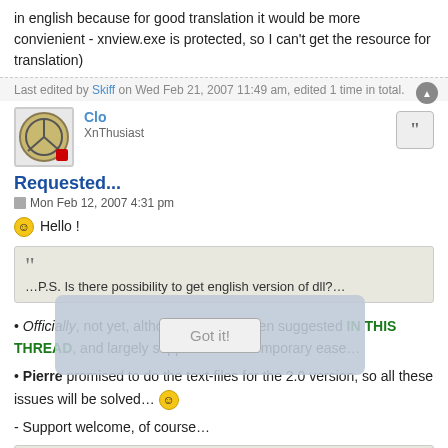in english because for good translation it would be more convienient - xnview.exe is protected, so I can't get the resource for translation)
Last edited by Skiff on Wed Feb 21, 2007 11:49 am, edited 1 time in total.
Clo
XnThusiast
Requested...
Mon Feb 12, 2007 4:31 pm
😊 Hello !
…P.S. Is there possibility to get english version of dll?…
• Officially, not yet, although this has been suggested IN THIS THREAD, and largely supported as a temporary ease…
• Pierre promised to do the text-files for the 2.0 version, so all these issues will be solved… 😊
- Support welcome, of course…
…xnview.exe is protected, so I can't get the resource for translation…